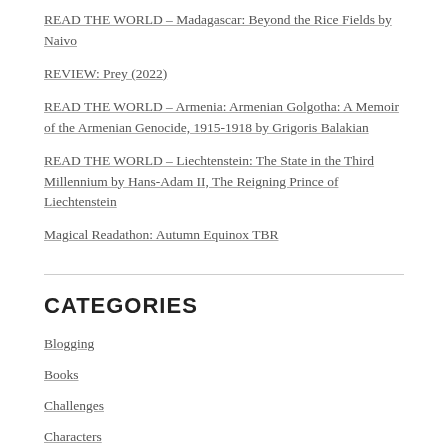READ THE WORLD – Madagascar: Beyond the Rice Fields by Naivo
REVIEW: Prey (2022)
READ THE WORLD – Armenia: Armenian Golgotha: A Memoir of the Armenian Genocide, 1915-1918 by Grigoris Balakian
READ THE WORLD – Liechtenstein: The State in the Third Millennium by Hans-Adam II, The Reigning Prince of Liechtenstein
Magical Readathon: Autumn Equinox TBR
CATEGORIES
Blogging
Books
Challenges
Characters